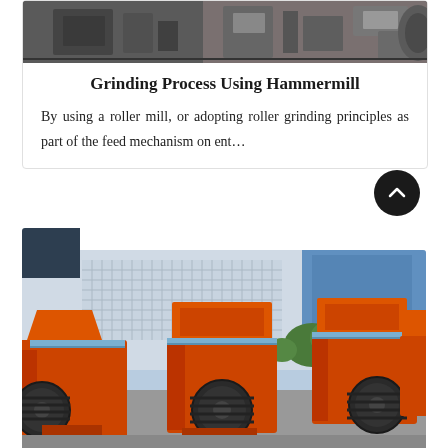[Figure (photo): Close-up photo of industrial grinding or milling machinery components in grey/metal tones]
Grinding Process Using Hammermill
By using a roller mill, or adopting roller grinding principles as part of the feed mechanism on ent…
[Figure (photo): Photo of multiple orange hammermill crusher machines arranged outdoors in a yard with fencing and trees in background]